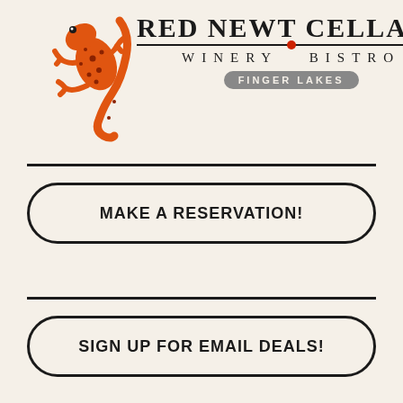[Figure (logo): Red Newt Cellars Winery Bistro Finger Lakes logo with orange salamander/newt illustration and text]
MAKE A RESERVATION!
SIGN UP FOR EMAIL DEALS!